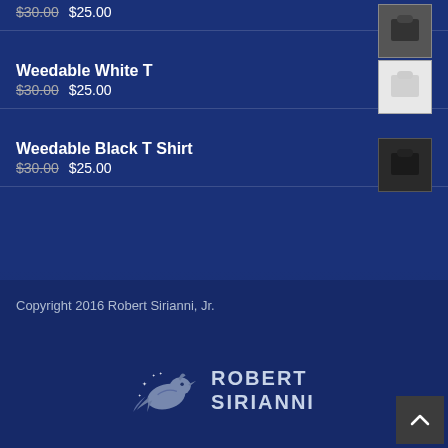$30.00 $25.00 (partial top item)
Weedable White T — $30.00 $25.00
Weedable Black T Shirt — $30.00 $25.00
Copyright 2016 Robert Sirianni, Jr.
[Figure (logo): Robert Sirianni logo with a bird and stars, text ROBERT SIRIANNI]